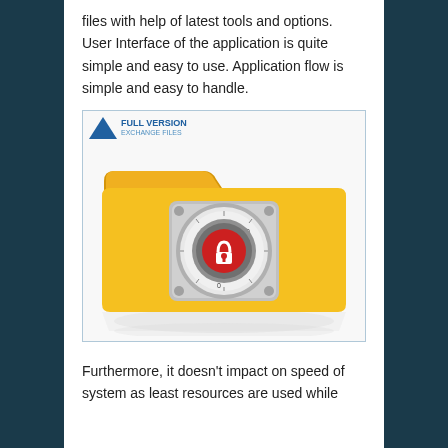files with help of latest tools and options. User Interface of the application is quite simple and easy to use. Application flow is simple and easy to handle.
[Figure (illustration): A yellow folder with a combination lock dial featuring a red padlock center, representing file security. Watermark overlay reads 'FULL VERSION' with a blue triangle logo.]
Furthermore, it doesn't impact on speed of system as least resources are used while